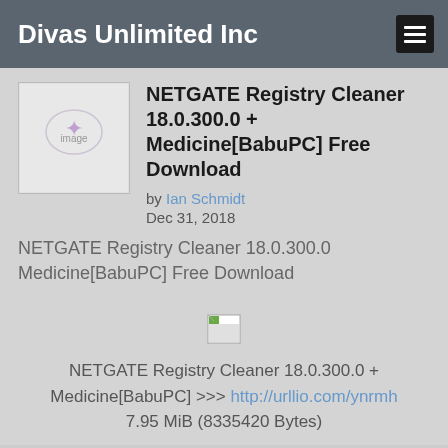Divas Unlimited Inc
NETGATE Registry Cleaner 18.0.300.0 + Medicine[BabuPC] Free Download
by Ian Schmidt
Dec 31, 2018
NETGATE Registry Cleaner 18.0.300.0 Medicine[BabuPC] Free Download
[Figure (other): Broken image placeholder in the center of the page]
NETGATE Registry Cleaner 18.0.300.0 + Medicine[BabuPC] >>> http://urllio.com/ynrmh
7.95 MiB (8335420 Bytes)